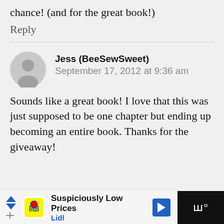chance! (and for the great book!)
Reply
Jess (BeeSewSweet)
September 17, 2012 at 9:36 am
Sounds like a great book! I love that this was just supposed to be one chapter but ending up becoming an entire book. Thanks for the giveaway!
[Figure (infographic): Lidl advertisement banner: Suspiciously Low Prices, Lidl logo, navigation arrow icon]